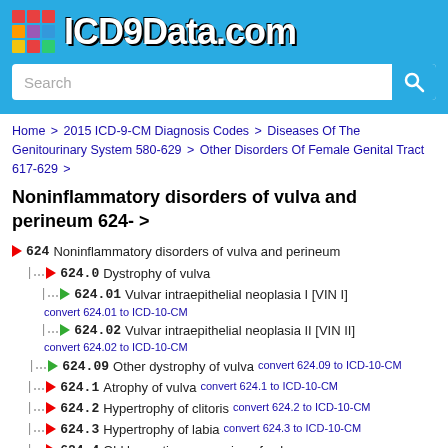[Figure (logo): ICD9Data.com logo with colorful grid icon and white text on blue background]
Home > 2015 ICD-9-CM Diagnosis Codes > Diseases Of The Genitourinary System 580-629 > Other Disorders Of Female Genital Tract 617-629 >
Noninflammatory disorders of vulva and perineum 624- >
624 Noninflammatory disorders of vulva and perineum
624.0 Dystrophy of vulva
624.01 Vulvar intraepithelial neoplasia I [VIN I] convert 624.01 to ICD-10-CM
624.02 Vulvar intraepithelial neoplasia II [VIN II] convert 624.02 to ICD-10-CM
624.09 Other dystrophy of vulva convert 624.09 to ICD-10-CM
624.1 Atrophy of vulva convert 624.1 to ICD-10-CM
624.2 Hypertrophy of clitoris convert 624.2 to ICD-10-CM
624.3 Hypertrophy of labia convert 624.3 to ICD-10-CM
624.4 Old laceration or scarring of vulva convert 624.4 to ICD-10-CM
624.5 Hematoma of vulva convert 624.5 to ICD-10-CM